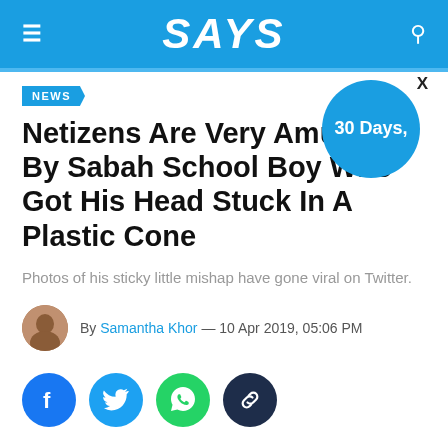SAYS
NEWS
Netizens Are Very Amused By Sabah School Boy Who Got His Head Stuck In A Plastic Cone
Photos of his sticky little mishap have gone viral on Twitter.
By Samantha Khor — 10 Apr 2019, 05:06 PM
[Figure (other): Social sharing icons row: Facebook, Twitter, WhatsApp, Link]